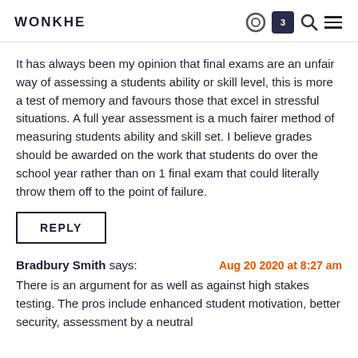WONKHE
It has always been my opinion that final exams are an unfair way of assessing a students ability or skill level, this is more a test of memory and favours those that excel in stressful situations. A full year assessment is a much fairer method of measuring students ability and skill set. I believe grades should be awarded on the work that students do over the school year rather than on 1 final exam that could literally throw them off to the point of failure.
REPLY
Bradbury Smith says: Aug 20 2020 at 8:27 am
There is an argument for as well as against high stakes testing. The pros include enhanced student motivation, better security, assessment by a neutral